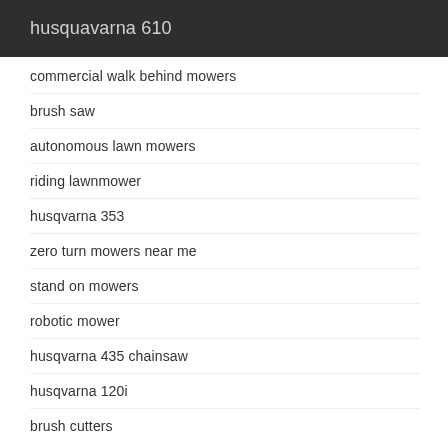husquavarna 610
commercial walk behind mowers
brush saw
autonomous lawn mowers
riding lawnmower
husqvarna 353
zero turn mowers near me
stand on mowers
robotic mower
husqvarna 435 chainsaw
husqvarna 120i
brush cutters